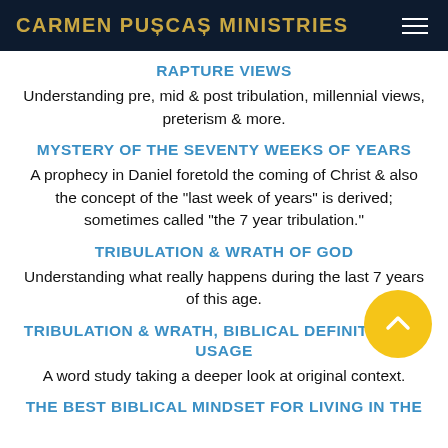CARMEN PUȘCAȘ MINISTRIES
RAPTURE VIEWS
Understanding pre, mid & post tribulation, millennial views, preterism & more.
MYSTERY OF THE SEVENTY WEEKS OF YEARS
A prophecy in Daniel foretold the coming of Christ & also the concept of the "last week of years" is derived; sometimes called "the 7 year tribulation."
TRIBULATION & WRATH OF GOD
Understanding what really happens during the last 7 years of this age.
TRIBULATION & WRATH, BIBLICAL DEFINITIONS & USAGE
A word study taking a deeper look at original context.
THE BEST BIBLICAL MINDSET FOR LIVING IN THE